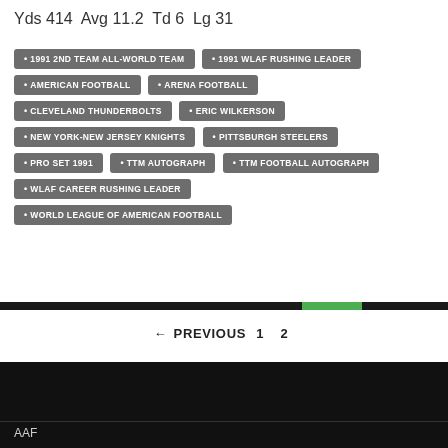Yds 414  Avg 11.2  Td 6  Lg 31
1991 2ND TEAM ALL-WORLD TEAM
1991 WLAF RUSHING LEADER
AMERICAN FOOTBALL
ARENA FOOTBALL
CLEVELAND THUNDERBOLTS
ERIC WILKERSON
NEW YORK-NEW JERSEY KNIGHTS
PITTSBURGH STEELERS
PRO SET 1991
TTM AUTOGRAPH
TTM FOOTBALL AUTOGRAPH
WLAF CAREER RUSHING LEADER
WORLD LEAGUE OF AMERICAN FOOTBALL
← PREVIOUS  1  2
AAF